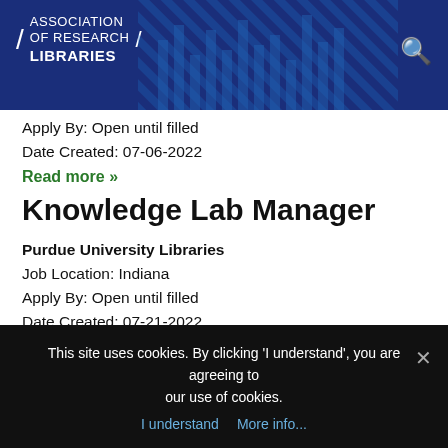ASSOCIATION OF RESEARCH LIBRARIES
Apply By: Open until filled
Date Created: 07-06-2022
Read more »
Knowledge Lab Manager
Purdue University Libraries
Job Location: Indiana
Apply By: Open until filled
Date Created: 07-21-2022
Read more »
This site uses cookies. By clicking 'I understand', you are agreeing to our use of cookies.
I understand    More info...